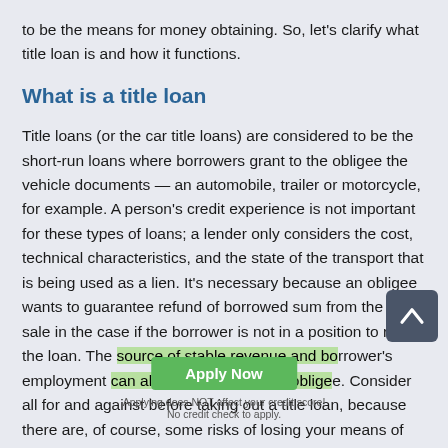to be the means for money obtaining. So, let's clarify what title loan is and how it functions.
What is a title loan
Title loans (or the car title loans) are considered to be the short-run loans where borrowers grant to the obligee the vehicle documents — an automobile, trailer or motorcycle, for example. A person's credit experience is not important for these types of loans; a lender only considers the cost, technical characteristics, and the state of the transport that is being used as a lien. It's necessary because an obligee wants to guarantee refund of borrowed sum from the car sale in the case if the borrower is not in a position to repay the loan. The source of stable revenue and borrower's employment can also be verified by an obligee. Consider all for and against before taking out a title loan, because there are, of course, some risks of losing your means of transport if you miss your loan payment.